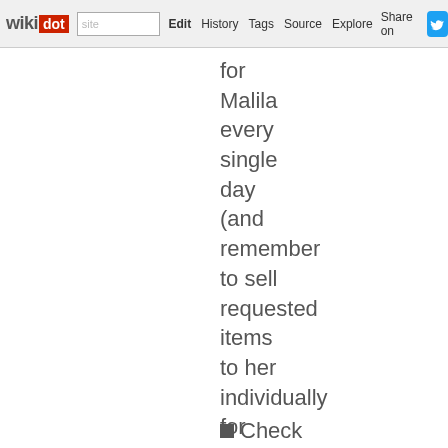wikidot | site | Edit | History | Tags | Source | Explore | Share on [Twitter]
for Malila every single day (and remember to sell requested items to her individually for maximum profits. For more on profits, see: MAKING MONEY)
Check in...